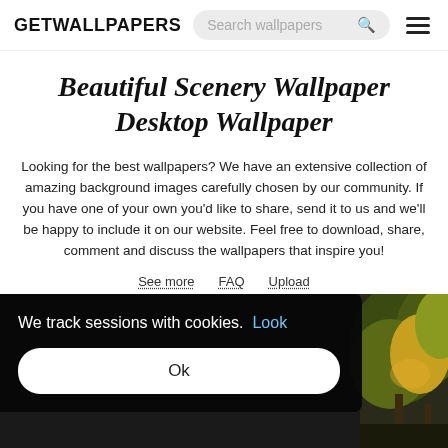GETWALLPAPERS
Beautiful Scenery Wallpaper Desktop Wallpaper
Looking for the best wallpapers? We have an extensive collection of amazing background images carefully chosen by our community. If you have one of your own you'd like to share, send it to us and we'll be happy to include it on our website. Feel free to download, share, comment and discuss the wallpapers that inspire you!
See more
FAQ
Upload
[Figure (screenshot): Cookie consent overlay on dark background reading 'We track sessions with cookies. Look' with an 'Ok' button, overlaid on a scenery thumbnail showing trees with yellow/green foliage.]